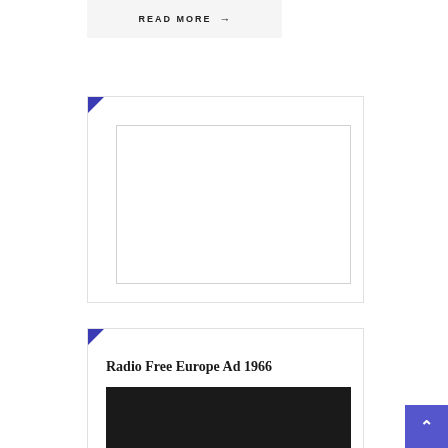READ MORE →
[Figure (other): Card with blue corner accent and empty white rectangular image placeholder]
Radio Free Europe Ad 1966
[Figure (other): Dark/black video thumbnail image placeholder below the Radio Free Europe Ad 1966 title]
[Figure (other): Scroll-to-top button with upward arrow in blue square at bottom right corner]